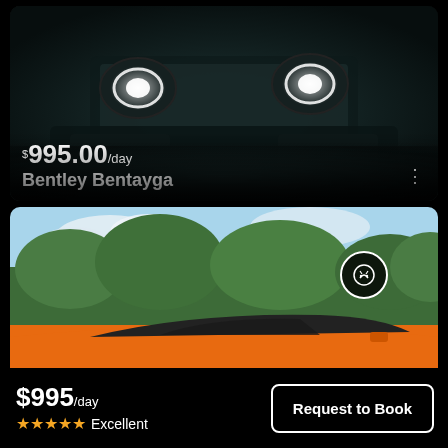[Figure (photo): Front view of a dark green Bentley Bentayga SUV with round LED headlights and large grille, price overlay showing $995.00/day and car name]
$995.00/day
Bentley Bentayga
[Figure (photo): Side view of an orange Lamborghini convertible sports car with trees and sky in background, circular badge/logo icon in upper right]
$995/day
★★★★★ Excellent
Request to Book